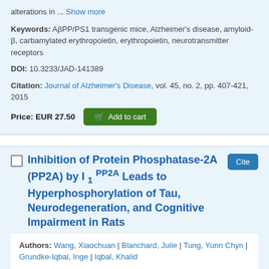alterations in ... Show more
Keywords: AβPP/PS1 transgenic mice, Alzheimer's disease, amyloid-β, carbamylated erythropoietin, erythropoietin, neurotransmitter receptors
DOI: 10.3233/JAD-141389
Citation: Journal of Alzheimer's Disease, vol. 45, no. 2, pp. 407-421, 2015
Price: EUR 27.50  [Add to cart]
Inhibition of Protein Phosphatase-2A (PP2A) by I 1 PP2A Leads to Hyperphosphorylation of Tau, Neurodegeneration, and Cognitive Impairment in Rats
Authors: Wang, Xiaochuan | Blanchard, Julie | Tung, Yunn Chyn | Grundke-Iqbal, Inge | Iqbal, Khalid
Article Type: Research Article